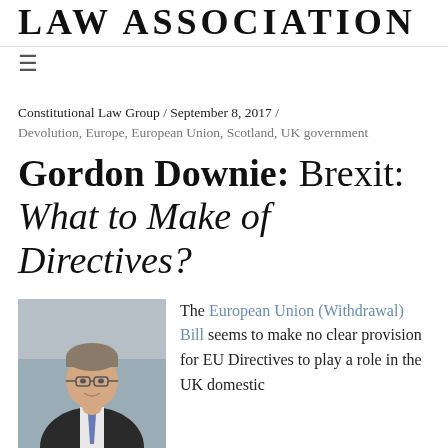LAW ASSOCIATION
≡
Constitutional Law Group / September 8, 2017 / Devolution, Europe, European Union, Scotland, UK government
Gordon Downie: Brexit: What to Make of Directives?
[Figure (photo): Portrait photo of a man wearing glasses and a dark suit with a striped tie, smiling, indoors]
The European Union (Withdrawal) Bill seems to make no clear provision for EU Directives to play a role in the UK domestic legal scene following Brexit. The UK